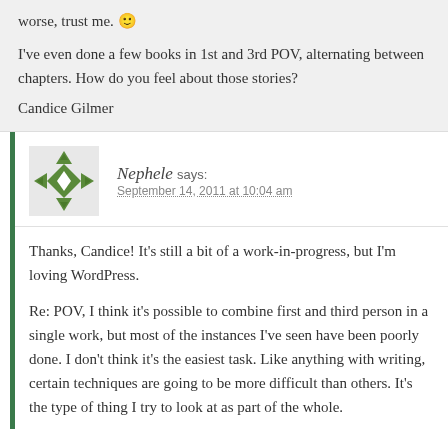worse, trust me. 🙂
I've even done a few books in 1st and 3rd POV, alternating between chapters. How do you feel about those stories?
Candice Gilmer
[Figure (illustration): Gravatar avatar icon with green diamond/cross pattern on white background]
Nephele says: September 14, 2011 at 10:04 am
Thanks, Candice! It's still a bit of a work-in-progress, but I'm loving WordPress.
Re: POV, I think it's possible to combine first and third person in a single work, but most of the instances I've seen have been poorly done. I don't think it's the easiest task. Like anything with writing, certain techniques are going to be more difficult than others. It's the type of thing I try to look at as part of the whole.